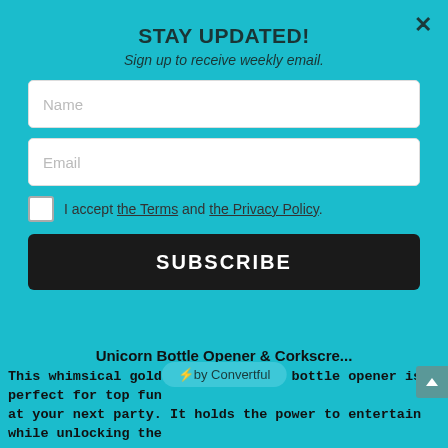STAY UPDATED!
Sign up to receive weekly email.
Name
Email
I accept the Terms and the Privacy Policy.
SUBSCRIBE
⚡by Convertful
[Figure (photo): Blurred bokeh background with green bottle]
Unicorn Bottle Opener & Corkscre...
This whimsical gold unicorn design bottle opener is perfect for top fun at your next party. It holds the power to entertain while unlocking the